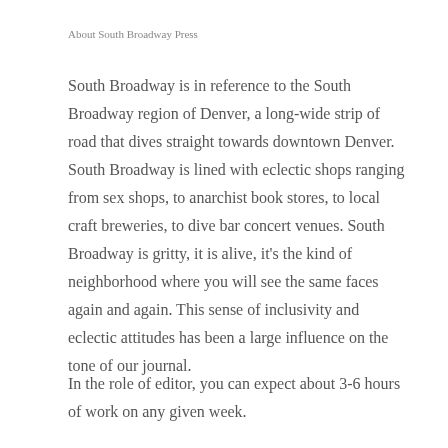About South Broadway Press
South Broadway is in reference to the South Broadway region of Denver, a long-wide strip of road that dives straight towards downtown Denver. South Broadway is lined with eclectic shops ranging from sex shops, to anarchist book stores, to local craft breweries, to dive bar concert venues. South Broadway is gritty, it is alive, it’s the kind of neighborhood where you will see the same faces again and again. This sense of inclusivity and eclectic attitudes has been a large influence on the tone of our journal.
In the role of editor, you can expect about 3-6 hours of work on any given week.